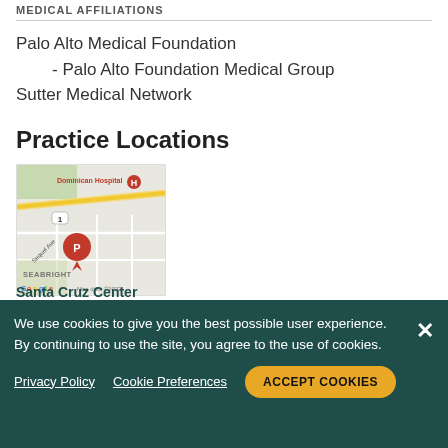MEDICAL AFFILIATIONS
Palo Alto Medical Foundation
- Palo Alto Foundation Medical Group
Sutter Medical Network
Practice Locations
[Figure (map): Google Map showing a location pin near Dominican Hospital and Seabright area in Santa Cruz. Map shows street layout with a red location marker labeled P. Map data ©2022.]
We use cookies to give you the best possible user experience. By continuing to use the site, you agree to the use of cookies.
Santa Cruz Center
2020 Sequel Avenue
Privacy Policy   Cookie Preferences   ACCEPT COOKIES